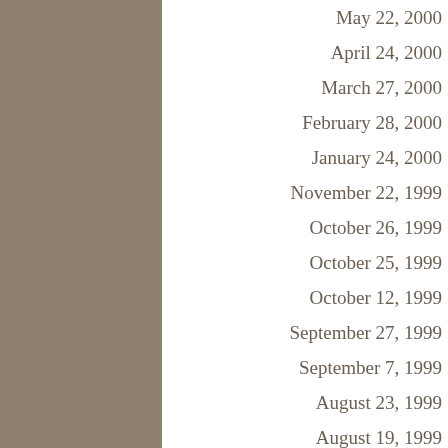May 22, 2000
April 24, 2000
March 27, 2000
February 28, 2000
January 24, 2000
November 22, 1999
October 26, 1999
October 25, 1999
October 12, 1999
September 27, 1999
September 7, 1999
August 23, 1999
August 19, 1999
July 26, 1999
June 28, 1999